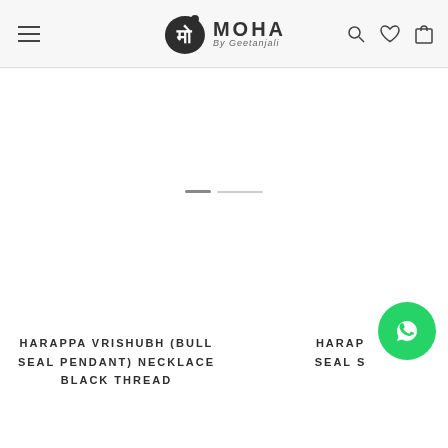MOHA By Geetanjali
[Figure (other): Large product image area (mostly white/blank) showing a necklace product with image carousel dots]
[Figure (logo): WhatsApp contact button (green circle with WhatsApp phone icon)]
HARAPPA VRISHUBH (BULL SEAL PENDANT) NECKLACE BLACK THREAD
HARAP SEAL S